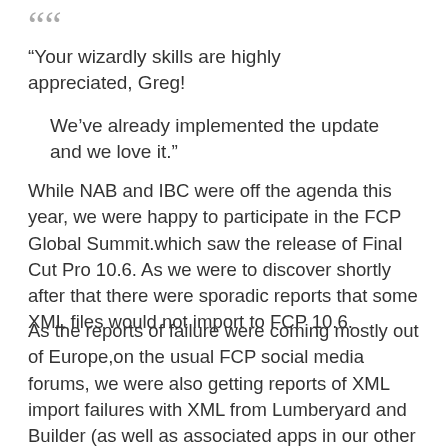“Your wizardly skills are highly appreciated, Greg! We’ve already implemented the update and we love it.”
While NAB and IBC were off the agenda this year, we were happy to participate in the FCP Global Summit.which saw the release of Final Cut Pro 10.6. As we were to discover shortly after that there were sporadic reports that some XML files would not import to FCP 10.6.
As the reports of failure were coming mostly out of Europe,on the usual FCP social media forums, we were also getting reports of XML import failures with XML from Lumberyard and Builder (as well as associated apps in our other company, Intelligent Assistance). The only thing they had in common was that they were in Europe. My intuition suggested it was in